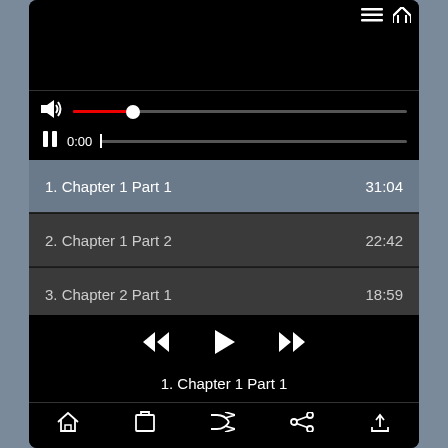[Figure (screenshot): Mobile audio player app screenshot showing a playlist with 4 chapters, transport controls, volume slider, and progress bar on a dark theme interface]
1. Chapter 1 Part 1    31:04
2. Chapter 1 Part 2    22:42
3. Chapter 2 Part 1    18:59
4. Chapter 2 Part 2    17:31
1. Chapter 1 Part 1